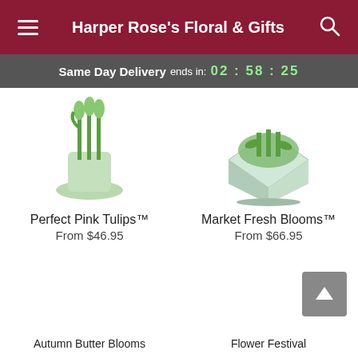Harper Rose's Floral & Gifts
Same Day Delivery ends in: 02 : 58 : 25
[Figure (photo): Photo of Perfect Pink Tulips product]
Perfect Pink Tulips™
From $46.95
[Figure (photo): Photo of Market Fresh Blooms product]
Market Fresh Blooms™
From $66.95
Autumn Butter Blooms
Flower Festival